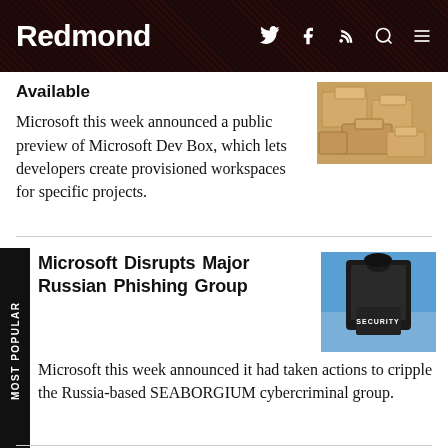Redmond
Available
[Figure (photo): Stack of cardboard boxes]
Microsoft this week announced a public preview of Microsoft Dev Box, which lets developers create provisioned workspaces for specific projects.
Microsoft Disrupts Major Russian Phishing Group
[Figure (photo): Person wearing a black jacket with SECURITY written on the back, viewed from behind against a blue sky]
Microsoft this week announced it had taken actions to cripple the Russia-based SEABORGIUM cybercriminal group.